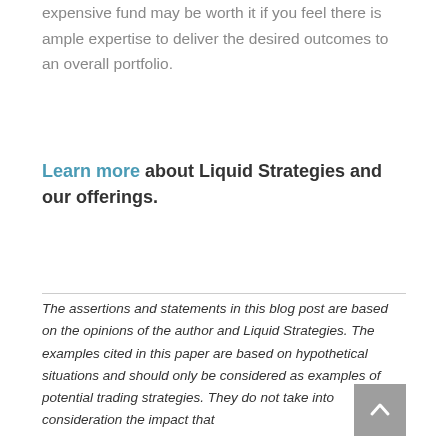expensive fund may be worth it if you feel there is ample expertise to deliver the desired outcomes to an overall portfolio.
Learn more about Liquid Strategies and our offerings.
The assertions and statements in this blog post are based on the opinions of the author and Liquid Strategies. The examples cited in this paper are based on hypothetical situations and should only be considered as examples of potential trading strategies. They do not take into consideration the impact that